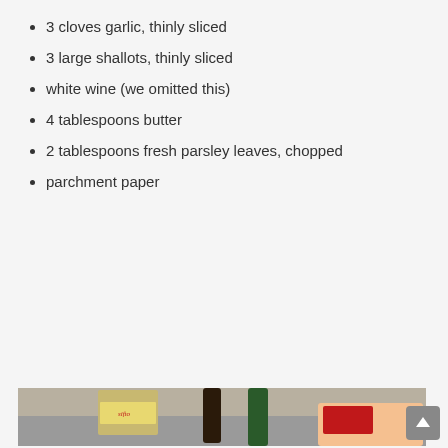3 cloves garlic, thinly sliced
3 large shallots, thinly sliced
white wine (we omitted this)
4 tablespoons butter
2 tablespoons fresh parsley leaves, chopped
parchment paper
[Figure (photo): A flat lay of cooking ingredients on a counter: a box of Sifto table salt, a bottle of olive oil, a bottle of white wine, a container of parmesan, a packet of French green beans, a container of cherry tomatoes (Suncoast brand), shallots, garlic, fresh parsley, and a package of raw chicken breasts (Extreme Value Pack).]